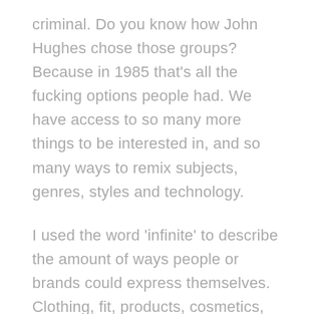criminal. Do you know how John Hughes chose those groups? Because in 1985 that's all the fucking options people had. We have access to so many more things to be interested in, and so many ways to remix subjects, genres, styles and technology.
I used the word 'infinite' to describe the amount of ways people or brands could express themselves. Clothing, fit, products, cosmetics, hair. It is more likely give our global access to these things and world trends that no two people would be alike than different.